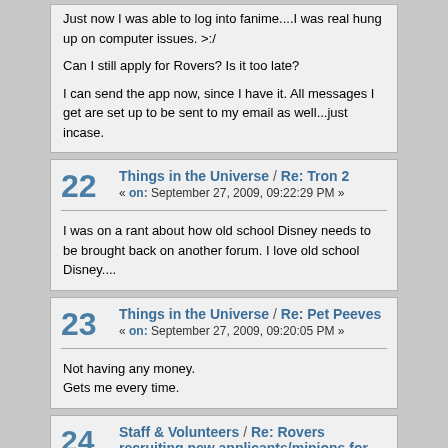Just now I was able to log into fanime....I was real hung up on computer issues. >:/

Can I still apply for Rovers? Is it too late?

I can send the app now, since I have it. All messages I get are set up to be sent to my email as well...just incase.
22  Things in the Universe / Re: Tron 2  « on: September 27, 2009, 09:22:29 PM »
I was on a rant about how old school Disney needs to be brought back on another forum. I love old school Disney....
23  Things in the Universe / Re: Pet Peeves  « on: September 27, 2009, 09:20:05 PM »
Not having any money.
Gets me every time.
24  Staff & Volunteers / Re: Rovers recruiting new applicants/minions for Fanime 2010  « on: September 27, 2009, 09:08:49 PM »
That does suck. 🙁